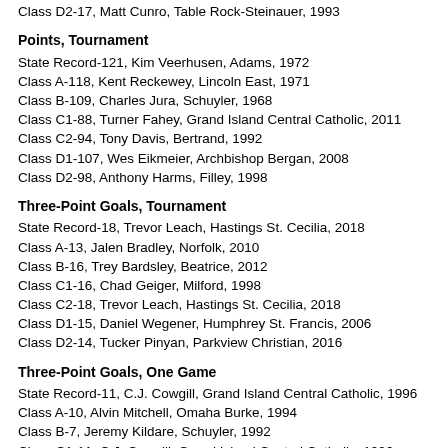Class D2-17, Matt Cunro, Table Rock-Steinauer, 1993
Points, Tournament
State Record-121, Kim Veerhusen, Adams, 1972
Class A-118, Kent Reckewey, Lincoln East, 1971
Class B-109, Charles Jura, Schuyler, 1968
Class C1-88, Turner Fahey, Grand Island Central Catholic, 2011
Class C2-94, Tony Davis, Bertrand, 1992
Class D1-107, Wes Eikmeier, Archbishop Bergan, 2008
Class D2-98, Anthony Harms, Filley, 1998
Three-Point Goals, Tournament
State Record-18, Trevor Leach, Hastings St. Cecilia, 2018
Class A-13, Jalen Bradley, Norfolk, 2010
Class B-16, Trey Bardsley, Beatrice, 2012
Class C1-16, Chad Geiger, Milford, 1998
Class C2-18, Trevor Leach, Hastings St. Cecilia, 2018
Class D1-15, Daniel Wegener, Humphrey St. Francis, 2006
Class D2-14, Tucker Pinyan, Parkview Christian, 2016
Three-Point Goals, One Game
State Record-11, C.J. Cowgill, Grand Island Central Catholic, 1996
Class A-10, Alvin Mitchell, Omaha Burke, 1994
Class B-7, Jeremy Kildare, Schuyler, 1992
Class C1-11, C.J. Cowgill, Grand Island Central Catholic, 1996
Class C2-8, Trevor Leach, Hastings St. Cecilia, 2018
Class D1-8, Daniel Wegener, Humphrey St. Francis, 2006